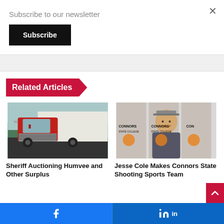Subscribe to our newsletter
Subscribe
Related Articles
[Figure (photo): Red vintage delivery truck / Humvee]
[Figure (photo): Young man smiling in front of Connors State College banner]
Sheriff Auctioning Humvee and Other Surplus
Jesse Cole Makes Connors State Shooting Sports Team
Facebook | LinkedIn social share bar